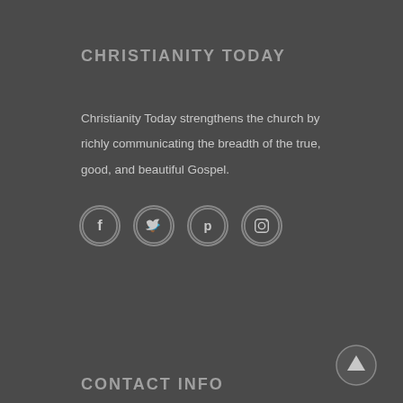CHRISTIANITY TODAY
Christianity Today strengthens the church by richly communicating the breadth of the true, good, and beautiful Gospel.
[Figure (illustration): Four social media icon circles: Facebook (f), Twitter (bird), Pinterest (p), Instagram (camera)]
CONTACT INFO